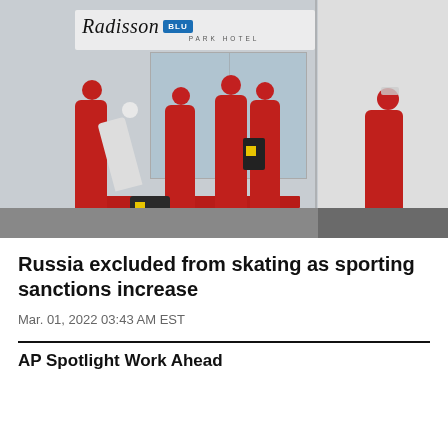[Figure (photo): Russian athletes and coaches in red jackets standing outside Radisson Blu Park Hotel entrance, some with backpacks and ski equipment]
Russia excluded from skating as sporting sanctions increase
Mar. 01, 2022 03:43 AM EST
AP Spotlight Work Ahead